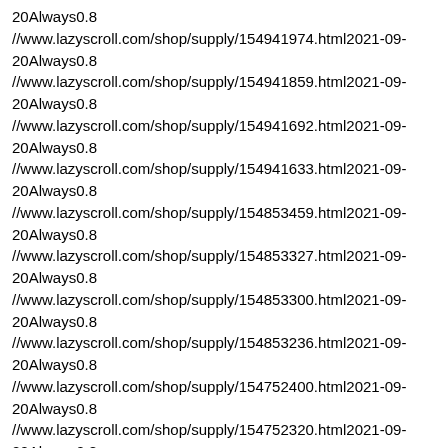20Always0.8
//www.lazyscroll.com/shop/supply/154941974.html2021-09-20Always0.8
//www.lazyscroll.com/shop/supply/154941859.html2021-09-20Always0.8
//www.lazyscroll.com/shop/supply/154941692.html2021-09-20Always0.8
//www.lazyscroll.com/shop/supply/154941633.html2021-09-20Always0.8
//www.lazyscroll.com/shop/supply/154853459.html2021-09-20Always0.8
//www.lazyscroll.com/shop/supply/154853327.html2021-09-20Always0.8
//www.lazyscroll.com/shop/supply/154853300.html2021-09-20Always0.8
//www.lazyscroll.com/shop/supply/154853236.html2021-09-20Always0.8
//www.lazyscroll.com/shop/supply/154752400.html2021-09-20Always0.8
//www.lazyscroll.com/shop/supply/154752320.html2021-09-20Always0.8
//www.lazyscroll.com/shop/supply/154752271.html2021-09-20Always0.8
//www.lazyscroll.com/shop/supply/154752222.html2021-09-20Always0.8
//www.lazyscroll.com/shop/supply/154647207.html2021-09-